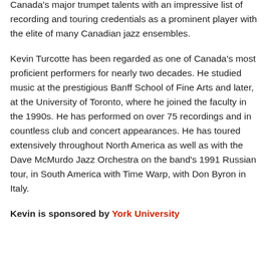Canada's major trumpet talents with an impressive list of recording and touring credentials as a prominent player with the elite of many Canadian jazz ensembles.
Kevin Turcotte has been regarded as one of Canada's most proficient performers for nearly two decades. He studied music at the prestigious Banff School of Fine Arts and later, at the University of Toronto, where he joined the faculty in the 1990s. He has performed on over 75 recordings and in countless club and concert appearances. He has toured extensively throughout North America as well as with the Dave McMurdo Jazz Orchestra on the band's 1991 Russian tour, in South America with Time Warp, with Don Byron in Italy.
Kevin is sponsored by York University